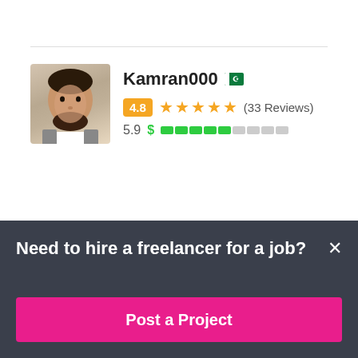[Figure (photo): Profile photo of Kamran000, a young man with a beard]
Kamran000
4.8 ★★★★★ (33 Reviews)
5.9 $ ▓▓▓▓▓░░░░░
[Figure (photo): Profile photo of otman3]
otman3
$30 AUD in 3 days
Need to hire a freelancer for a job?
Post a Project